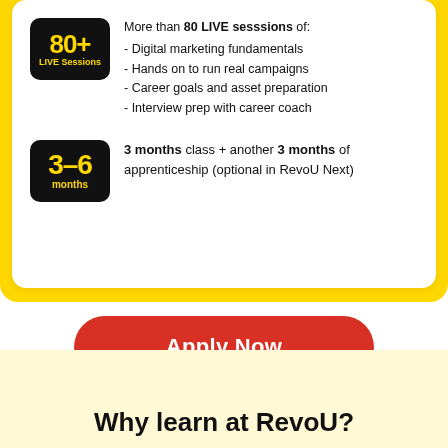[Figure (infographic): Black badge with yellow text showing '80+ LIVE Sessions']
More than 80 LIVE sesssions of:
- Digital marketing fundamentals
- Hands on to run real campaigns
- Career goals and asset preparation
- Interview prep with career coach
[Figure (infographic): Black badge with yellow text showing '3-6 months']
3 months class + another 3 months of apprenticeship (optional in RevoU Next)
Apply Now
Up to 100% Refund for Job Guarantee
Why learn at RevoU?